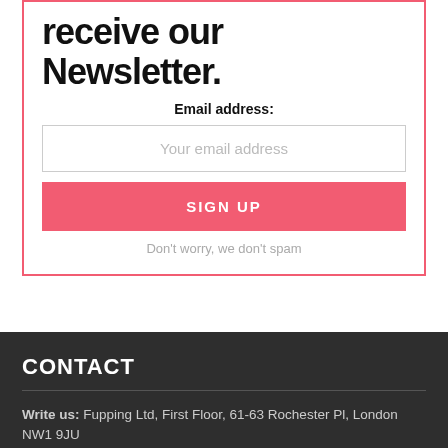receive our Newsletter.
Email address:
Your email address
SIGN UP
Don't worry, we don't spam
CONTACT
Write us: Fupping Ltd, First Floor, 61-63 Rochester Pl, London NW1 9JU
Email us: Admin@threat.technology